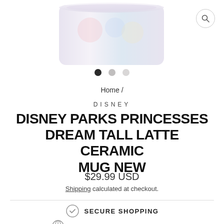[Figure (photo): Partial view of a Disney Parks Princesses Dream Tall Latte Ceramic Mug, showing the top portion of a white/pastel ceramic mug with decorative princess artwork]
Home /
DISNEY
DISNEY PARKS PRINCESSES DREAM TALL LATTE CERAMIC MUG NEW
$29.99 USD
Shipping calculated at checkout.
SECURE SHOPPING
INTERNATIONAL DELIVERY
30 DAY RETURNS POLICY